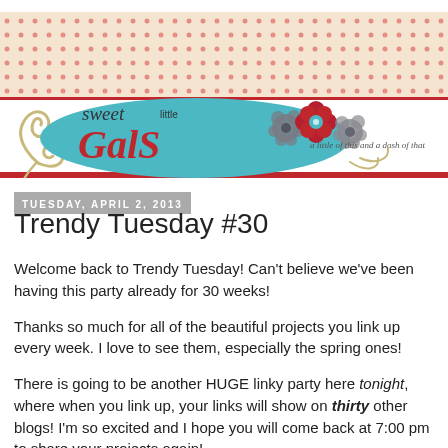[Figure (illustration): Sweet Little Gals blog banner with polka dot background, teal oval logo with 'sweet little Gals' text in red and black, decorative flowers in red/blue/gray, swirl ornaments, and tagline 'a little of this and a dash of that']
Tuesday, April 2, 2013
Trendy Tuesday #30
Welcome back to Trendy Tuesday!  Can't believe we've been having this party already for 30 weeks!
Thanks so much for all of the beautiful projects you link up every week.  I love to see them, especially the spring ones!
There is going to be another HUGE linky party here tonight, where when you link up, your links will show on thirty other blogs!  I'm so excited and I hope you will come back at 7:00 pm to share your projects again!